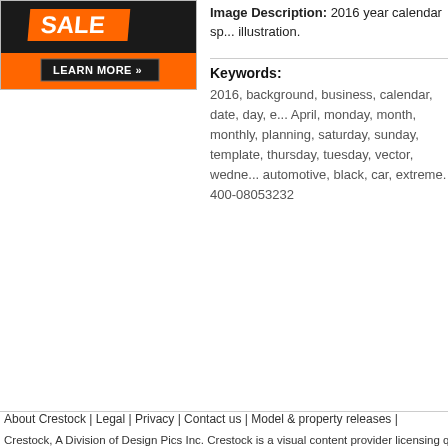[Figure (illustration): Orange and black promotional banner with SALE text and LEARN MORE button]
Image Description: 2016 year calendar sp... illustration.
Keywords:
2016, background, business, calendar, date, day, e... April, monday, month, monthly, planning, saturday, sunday, template, thursday, tuesday, vector, wedne... automotive, black, car, extreme. 400-08053232
About Crestock | Legal | Privacy | Contact us | Model & property releases |
Crestock, A Division of Design Pics Inc. Crestock is a visual content provider licensing quality royalty-...